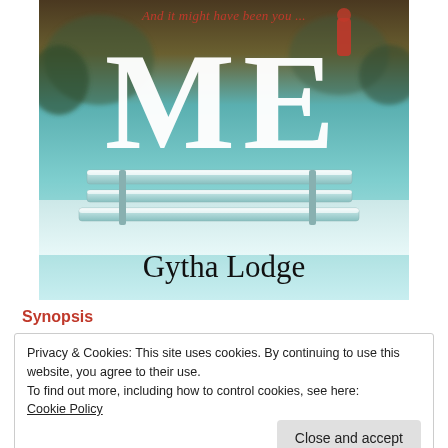[Figure (illustration): Book cover for 'Me' by Gytha Lodge. Shows a snowy park bench scene with teal/cyan tones. Italic red text at top reads 'And it might have been you...' with a distant figure in red coat. Large white bold letters 'ME' dominate the center. Author name 'Gytha Lodge' in black serif at the bottom.]
Synopsis
Privacy & Cookies: This site uses cookies. By continuing to use this website, you agree to their use.
To find out more, including how to control cookies, see here:
Cookie Policy
Close and accept